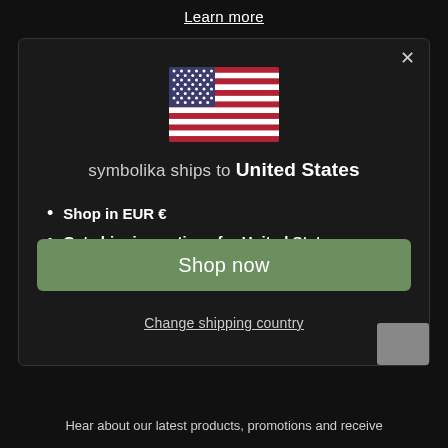Learn more
[Figure (illustration): US flag emoji/image centered in a modal dialog]
symbolika ships to United States
Shop in EUR €
Get shipping options for United States
Shop now
Change shipping country
Hear about our latest products, promotions and receive